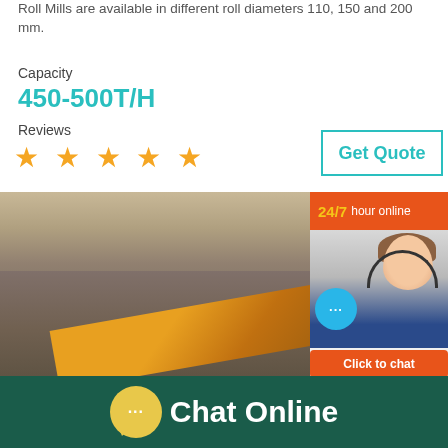Roll Mills are available in different roll diameters 110, 150 and 200 mm.
Capacity
450-500T/H
Reviews
★ ★ ★ ★ ★
Get Quote
[Figure (photo): Mining/quarry scene with rocky terrain and conveyor belt machinery]
[Figure (photo): Customer service representative with headset, 24/7 hour online chat widget with Click to chat button]
Chat Online